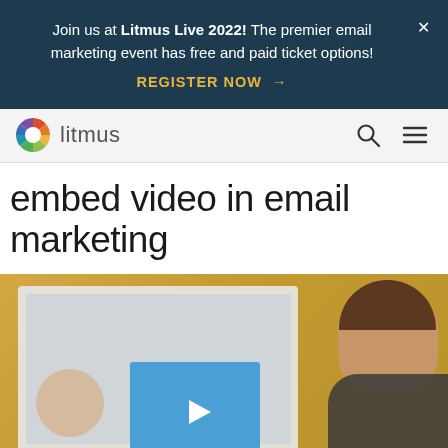Join us at Litmus Live 2022! The premier email marketing event has free and paid ticket options! REGISTER NOW →
[Figure (logo): Litmus logo with colorful circular wheel icon and 'litmus' wordmark text]
embed video in email marketing
[Figure (photo): Photo of a man smiling at a laptop screen showing a video player interface with a blue play button, against a yellow background]